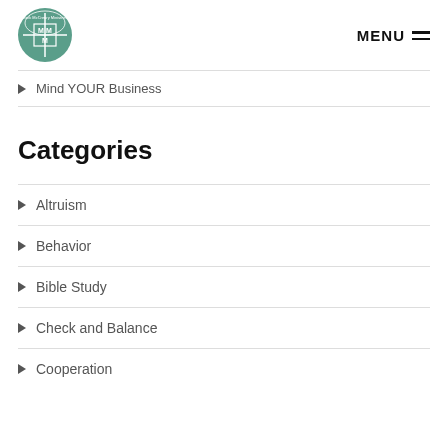Mark McCreary Ministries — MENU
Mind YOUR Business
Categories
Altruism
Behavior
Bible Study
Check and Balance
Cooperation